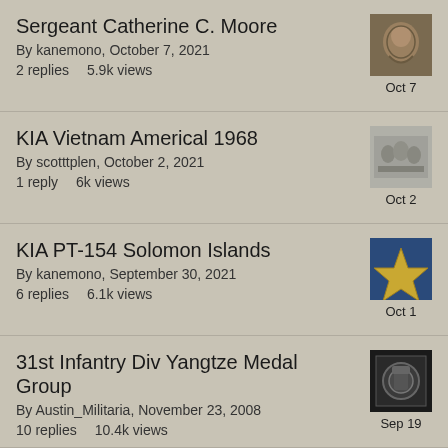Sergeant Catherine C. Moore
By kanemono, October 7, 2021
2 replies   5.9k views
Oct 7
KIA Vietnam Americal 1968
By scotttplen, October 2, 2021
1 reply   6k views
Oct 2
KIA PT-154 Solomon Islands
By kanemono, September 30, 2021
6 replies   6.1k views
Oct 1
31st Infantry Div Yangtze Medal Group
By Austin_Militaria, November 23, 2008
10 replies   10.4k views
Sep 19
WWII Silver Star Group to Admiral Beck , Pearl Harbor Survivor
1  2
Sep 19